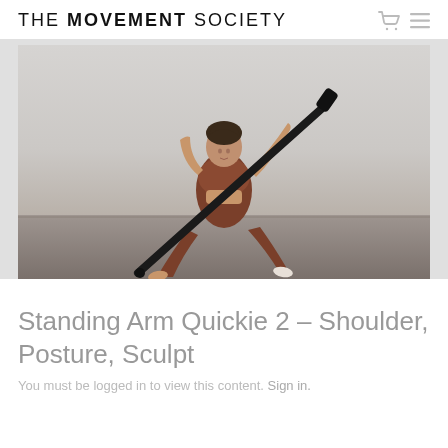THE MOVEMENT SOCIETY
[Figure (photo): Woman in terracotta/rust-colored workout set performing a wide-stance lunge while holding a long black resistance bar diagonally across her body in a bright studio with grey walls and wooden floor.]
Standing Arm Quickie 2 – Shoulder, Posture, Sculpt
You must be logged in to view this content. Sign in.